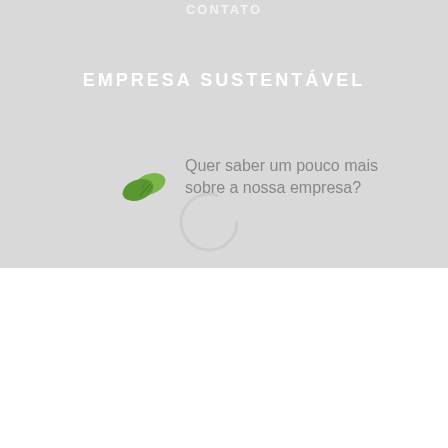CONTATO
EMPRESA SUSTENTÁVEL
[Figure (illustration): Green leaf/plant icon and partial spinner loading circle overlaid on gray background section]
Quer saber um pouco mais sobre a nossa empresa?
A Ecotap usa cookies para melhorar a sua experiência no site. Ao continuar navegando, você concorda com a nossa Políticas de Privacidade e Segurança.
ACEITAR E CONTINUAR